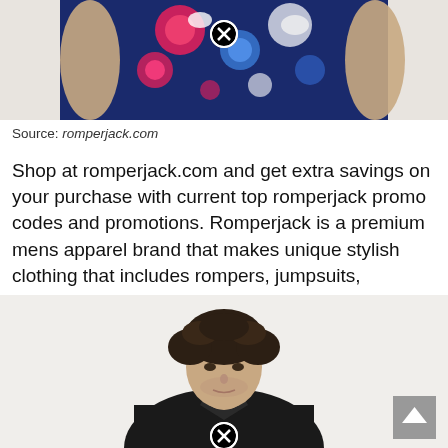[Figure (photo): Partial view of a person wearing a navy blue floral print shirt/romper with colorful flowers (pink, blue, white). A circular close/remove button overlay is visible on the image.]
Source: romperjack.com
Shop at romperjack.com and get extra savings on your purchase with current top romperjack promo codes and promotions. Romperjack is a premium mens apparel brand that makes unique stylish clothing that includes rompers, jumpsuits, overalls, etc.
[Figure (photo): A young male model with dark curly hair wearing a black jacket/romper against a light beige background. A circular close/remove button overlay is visible at the bottom of the image. A grey back-to-top arrow button appears in the lower right corner.]